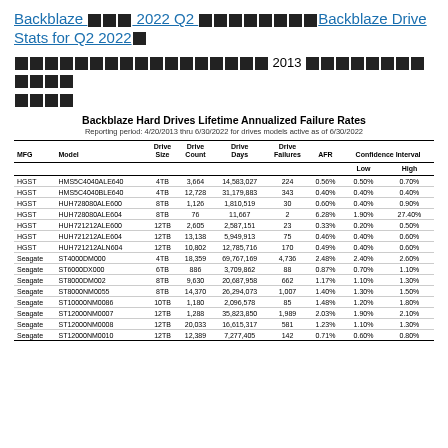Backblaze ××× 2022 Q2 ████████Backblaze Drive Stats for Q2 2022█
█████████████████ 2013 ████████████ █████
Backblaze Hard Drives Lifetime Annualized Failure Rates
Reporting period: 4/20/2013 thru 6/30/2022 for drives models active as of 6/30/2022
| MFG | Model | Drive Size | Drive Count | Drive Days | Drive Failures | AFR | Confidence Interval Low | Confidence Interval High |
| --- | --- | --- | --- | --- | --- | --- | --- | --- |
| HGST | HMS5C4040ALE640 | 4TB | 3,664 | 14,583,027 | 224 | 0.56% | 0.50% | 0.70% |
| HGST | HMS5C4040BLE640 | 4TB | 12,728 | 31,179,883 | 343 | 0.40% | 0.40% | 0.40% |
| HGST | HUH728080ALE600 | 8TB | 1,126 | 1,810,519 | 30 | 0.60% | 0.40% | 0.90% |
| HGST | HUH728080ALE604 | 8TB | 76 | 11,667 | 2 | 6.28% | 1.90% | 27.40% |
| HGST | HUH721212ALE600 | 12TB | 2,605 | 2,587,151 | 23 | 0.33% | 0.20% | 0.50% |
| HGST | HUH721212ALE604 | 12TB | 13,138 | 5,949,913 | 75 | 0.46% | 0.40% | 0.60% |
| HGST | HUH721212ALN604 | 12TB | 10,802 | 12,785,716 | 170 | 0.49% | 0.40% | 0.60% |
| Seagate | ST4000DM000 | 4TB | 18,359 | 69,767,169 | 4,736 | 2.48% | 2.40% | 2.60% |
| Seagate | ST6000DX000 | 6TB | 886 | 3,709,862 | 88 | 0.87% | 0.70% | 1.10% |
| Seagate | ST8000DM002 | 8TB | 9,630 | 20,687,958 | 662 | 1.17% | 1.10% | 1.30% |
| Seagate | ST8000NM0055 | 8TB | 14,370 | 26,294,073 | 1,007 | 1.40% | 1.30% | 1.50% |
| Seagate | ST10000NM0086 | 10TB | 1,180 | 2,096,578 | 85 | 1.48% | 1.20% | 1.80% |
| Seagate | ST12000NM0007 | 12TB | 1,288 | 35,823,850 | 1,989 | 2.03% | 1.90% | 2.10% |
| Seagate | ST12000NM0008 | 12TB | 20,033 | 16,615,317 | 581 | 1.23% | 1.10% | 1.30% |
| Seagate | ST12000NM0010 | 12TB | 12,389 | 7,277,405 | 142 | 0.71% | 0.60% | 0.80% |